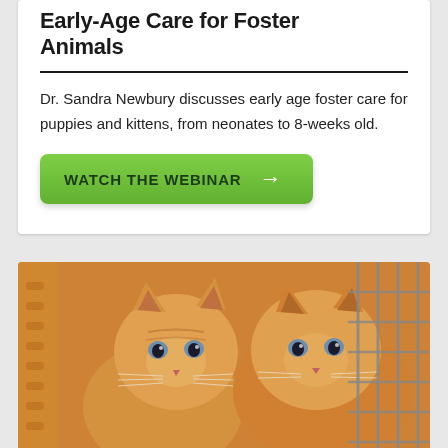Early-Age Care for Foster Animals
Dr. Sandra Newbury discusses early age foster care for puppies and kittens, from neonates to 8-weeks old.
[Figure (other): Green button with text WATCH THE WEBINAR and right arrow]
[Figure (photo): Two orange tabby kittens sitting together inside a carrier with metal wire door]